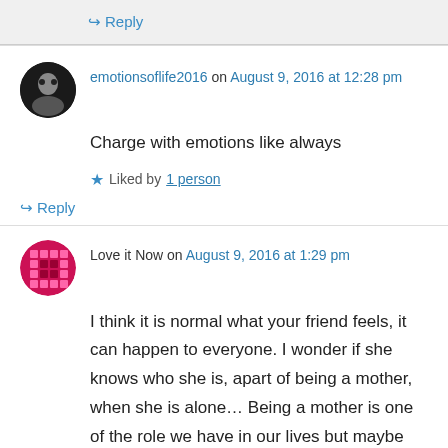↪ Reply
emotionsoflife2016 on August 9, 2016 at 12:28 pm
Charge with emotions like always
★ Liked by 1 person
↪ Reply
Love it Now on August 9, 2016 at 1:29 pm
I think it is normal what your friend feels, it can happen to everyone. I wonder if she knows who she is, apart of being a mother, when she is alone… Being a mother is one of the role we have in our lives but maybe there is another part